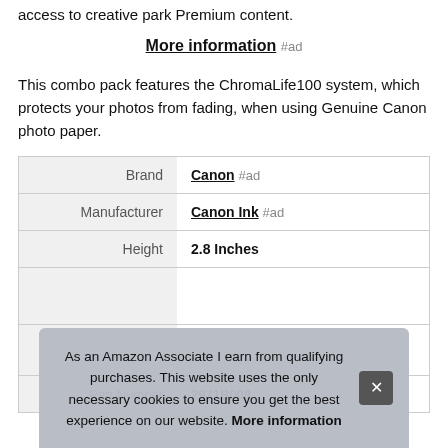access to creative park Premium content.
More information #ad
This combo pack features the ChromaLife100 system, which protects your photos from fading, when using Genuine Canon photo paper.
|  |  |
| --- | --- |
| Brand | Canon #ad |
| Manufacturer | Canon Ink #ad |
| Height | 2.8 Inches |
| Part Number | 2971B008 |
As an Amazon Associate I earn from qualifying purchases. This website uses the only necessary cookies to ensure you get the best experience on our website. More information